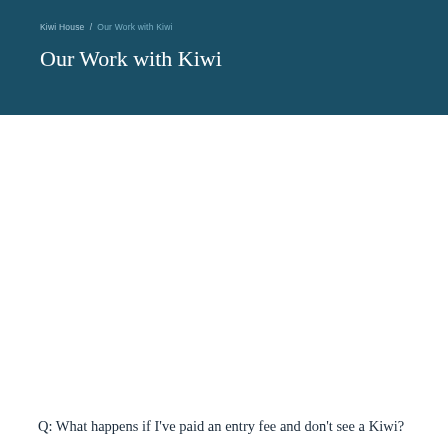Kiwi House / Our Work with Kiwi
Our Work with Kiwi
Q: What happens if I've paid an entry fee and don't see a Kiwi?